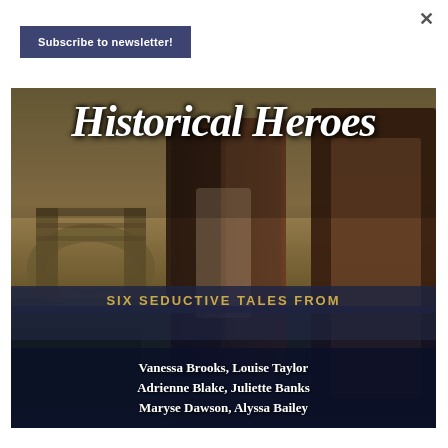×
Subscribe to newsletter!
[Figure (illustration): Book cover for 'Historical Heroes: Six Seductive Tales From Vanessa Brooks, Louise Taylor, Adrienne Blake, Juliette Banks, Maryse Dawson, Alyssa Bailey'. Shows a romantic historical couple in front of a stone bridge in a moody landscape. The title is in large white cursive script, with a dark banner reading 'SIX SEDUCTIVE TALES FROM' in gold uppercase letters, and the authors' names in white serif bold text below.]